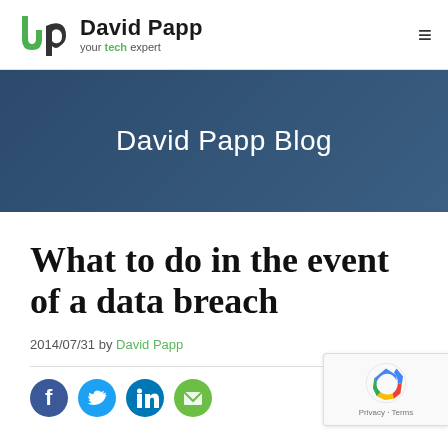David Papp – your tech expert
David Papp Blog
What to do in the event of a data breach
2014/07/31 by David Papp
[Figure (logo): Social sharing icons: Facebook, Twitter, LinkedIn, Email]